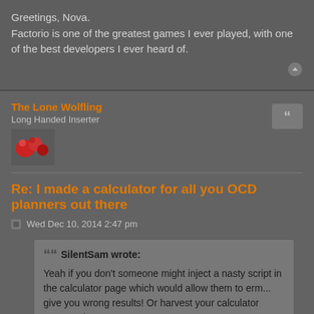Greetings, Nova.
Factorio is one of the greatest games I ever played, with one of the best developers I ever heard of.
The Lone Wolfling
Long Handed Inserter
Re: I made a calculator for all you OCD planners out there
Wed Dec 10, 2014 2:47 pm
SilentSam wrote:
Yeah if you don't someone might inject a nasty script in the calculator page which would allow them to erm... give you wrong results! Or harvest your calculator password!
Looks like I do, in fact, need to get into this here.
Here's the thing - arbitrary/malicious JS can do a lot more than just give me wrong results. Among other things,